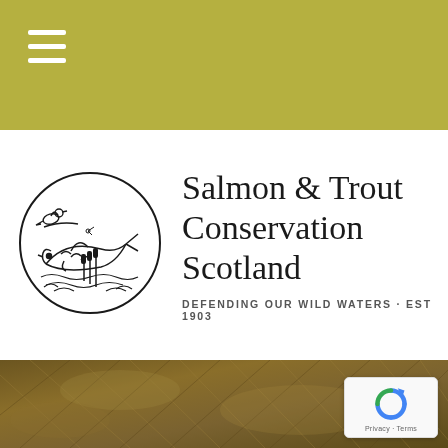≡
[Figure (logo): Salmon & Trout Conservation Scotland circular logo with a bird perched on a branch, a leaping salmon below, water waves, and botanical elements, all drawn in thin black lines within a circle]
Salmon & Trout Conservation Scotland
DEFENDING OUR WILD WATERS • EST 1903
[Figure (photo): Close-up photograph of fish scales with olive-brown coloration, showing textured scale patterns across the lower portion of the page]
[Figure (logo): Google reCAPTCHA badge showing the reCAPTCHA circular arrow logo in blue, with Privacy and Terms links below]